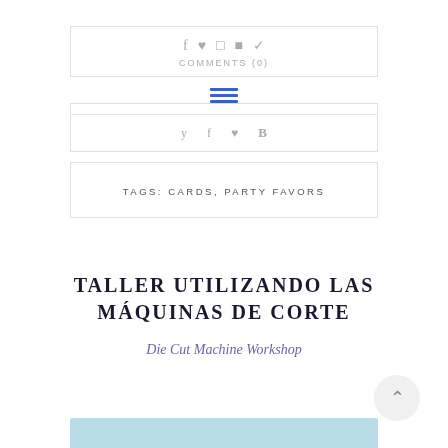COMMENTS (0)
[Figure (infographic): Hamburger menu icon with three blue horizontal lines]
[Figure (infographic): Social share icons row: Twitter, Facebook, Pinterest, Bloglovin]
TAGS: CARDS, PARTY FAVORS
TALLER UTILIZANDO LAS MÁQUINAS DE CORTE
Die Cut Machine Workshop
[Figure (photo): Light blue/teal image strip at the bottom of the page]